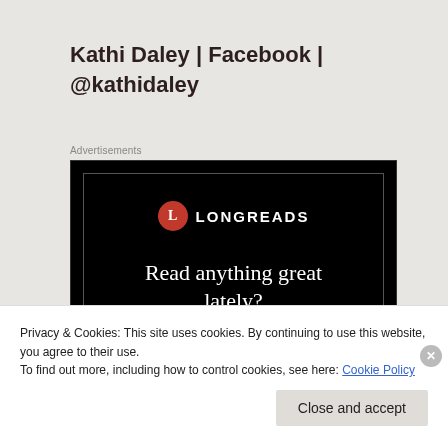Kathi Daley | Facebook | @kathidaley
Advertisements
[Figure (screenshot): Longreads advertisement on black background with logo and text 'Read anything great lately?']
Privacy & Cookies: This site uses cookies. By continuing to use this website, you agree to their use.
To find out more, including how to control cookies, see here: Cookie Policy
Close and accept